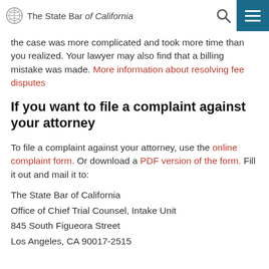The State Bar of California
the case was more complicated and took more time than you realized. Your lawyer may also find that a billing mistake was made. More information about resolving fee disputes
If you want to file a complaint against your attorney
To file a complaint against your attorney, use the online complaint form. Or download a PDF version of the form. Fill it out and mail it to:
The State Bar of California
Office of Chief Trial Counsel, Intake Unit
845 South Figueora Street
Los Angeles, CA 90017-2515